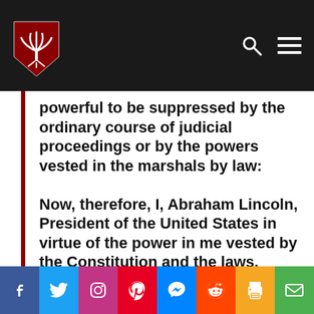powerful to be suppressed by the ordinary course of judicial proceedings or by the powers vested in the marshals by law:
Now, therefore, I, Abraham Lincoln, President of the United States in virtue of the power in me vested by the Constitution and the laws,
Social share bar: Facebook, Twitter, Instagram, Pinterest, Messenger, Reddit, Print, Email